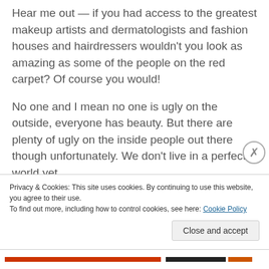Hear me out — if you had access to the greatest makeup artists and dermatologists and fashion houses and hairdressers wouldn't you look as amazing as some of the people on the red carpet? Of course you would!
No one and I mean no one is ugly on the outside, everyone has beauty. But there are plenty of ugly on the inside people out there though unfortunately. We don't live in a perfect world yet.
My Journey to find my Skin Care Products
Privacy & Cookies: This site uses cookies. By continuing to use this website, you agree to their use.
To find out more, including how to control cookies, see here: Cookie Policy